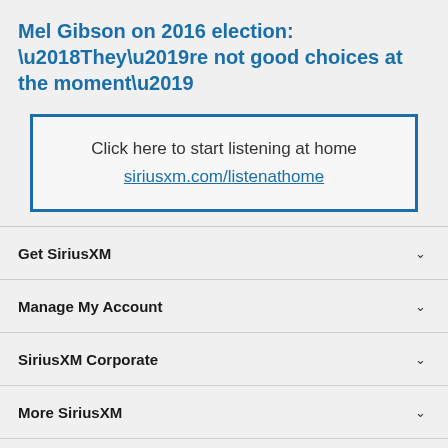Mel Gibson on 2016 election: ‘They’re not good choices at the moment’
Click here to start listening at home
siriusxm.com/listenathome
Get SiriusXM
Manage My Account
SiriusXM Corporate
More SiriusXM